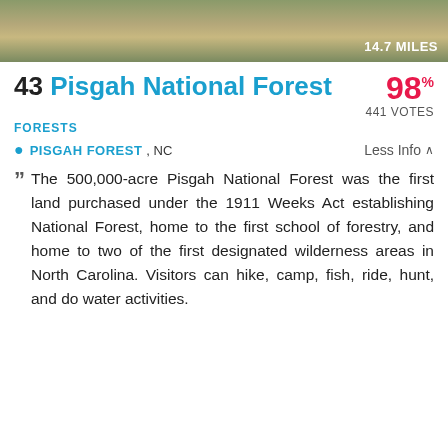[Figure (photo): Trail or path photo banner with natural outdoor scenery, greenery and dirt path visible]
43 Pisgah National Forest
98% 441 VOTES
FORESTS
PISGAH FOREST, NC   Less Info
The 500,000-acre Pisgah National Forest was the first land purchased under the 1911 Weeks Act establishing National Forest, home to the first school of forestry, and home to two of the first designated wilderness areas in North Carolina. Visitors can hike, camp, fish, ride, hunt, and do water activities.